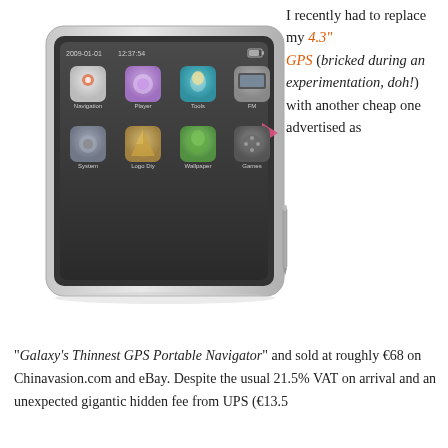[Figure (photo): A 4.3 inch GPS portable navigator device with a dark touchscreen showing app icons: Navigation, Player, Tools, FM, System, Logo Diy, Wallpaper, Games. The device has a silver/white frame and a stylus pen on the right side. The screen shows date 2009-01-01 and time 12:37:54.]
I recently had to replace my 4.3" GPS (bricked during an experimentation, doh!) with another cheap one advertised as
"Galaxy's Thinnest GPS Portable Navigator" and sold at roughly €68 on Chinavasion.com and eBay. Despite the usual 21.5% VAT on arrival and an unexpected gigantic hidden fee from UPS (€13.5